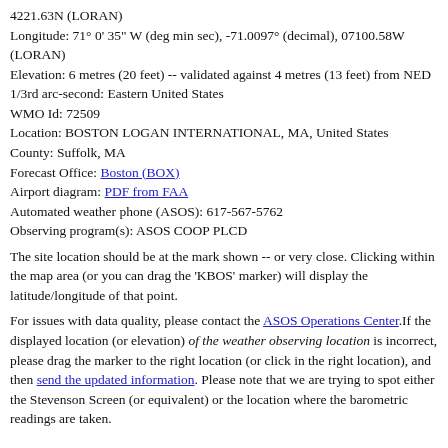4221.63N (LORAN)
Longitude: 71° 0' 35" W (deg min sec), -71.0097° (decimal), 07100.58W (LORAN)
Elevation: 6 metres (20 feet) -- validated against 4 metres (13 feet) from NED 1/3rd arc-second: Eastern United States
WMO Id: 72509
Location: BOSTON LOGAN INTERNATIONAL, MA, United States
County: Suffolk, MA
Forecast Office: Boston (BOX)
Airport diagram: PDF from FAA
Automated weather phone (ASOS): 617-567-5762
Observing program(s): ASOS COOP PLCD
The site location should be at the mark shown -- or very close. Clicking within the map area (or you can drag the 'KBOS' marker) will display the latitude/longitude of that point.
For issues with data quality, please contact the ASOS Operations Center. If the displayed location (or elevation) of the weather observing location is incorrect, please drag the marker to the right location (or click in the right location), and then send the updated information. Please note that we are trying to spot either the Stevenson Screen (or equivalent) or the location where the barometric readings are taken.